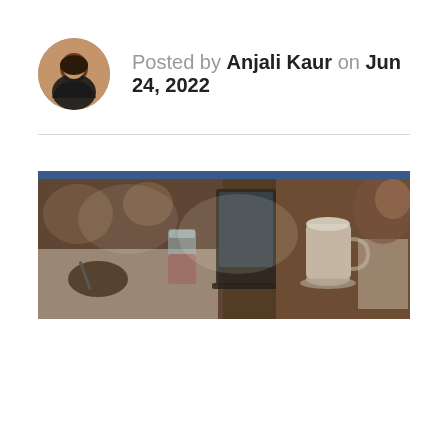Posted by Anjali Kaur on Jun 24, 2022
[Figure (photo): Wide banner photo showing a blurred cafe or meeting scene: glasses of drinks, a laptop, papers, and cups of coffee on a table, with people in the background. A dark blue bar runs across the top of the image.]